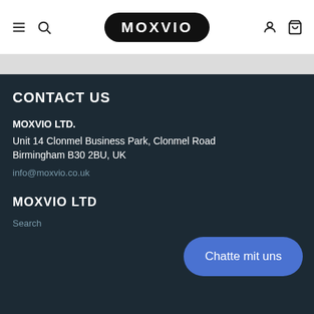MOXVIO
CONTACT US
MOXVIO LTD.
Unit 14 Clonmel Business Park, Clonmel Road
Birmingham B30 2BU, UK
info@moxvio.co.uk
MOXVIO LTD
Search
Chatte mit uns